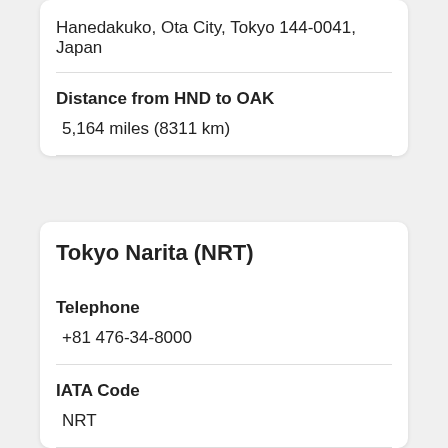Hanedakuko, Ota City, Tokyo 144-0041, Japan
Distance from HND to OAK
5,164 miles (8311 km)
Tokyo Narita (NRT)
Telephone
+81 476-34-8000
IATA Code
NRT